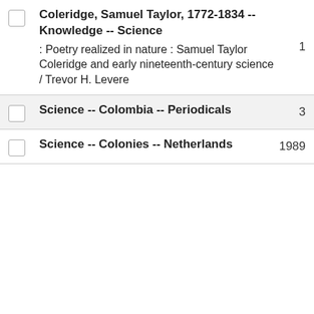Coleridge, Samuel Taylor, 1772-1834 -- Knowledge -- Science : Poetry realized in nature : Samuel Taylor Coleridge and early nineteenth-century science / Trevor H. Levere
Science -- Colombia -- Periodicals
Science -- Colonies -- Netherlands